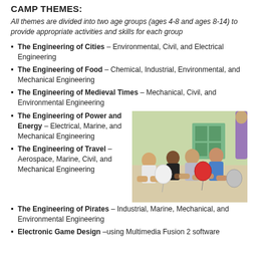CAMP THEMES:
All themes are divided into two age groups (ages 4-8 and ages 8-14) to provide appropriate activities and skills for each group
The Engineering of Cities – Environmental, Civil, and Electrical Engineering
The Engineering of Food – Chemical, Industrial, Environmental, and Mechanical Engineering
The Engineering of Medieval Times – Mechanical, Civil, and Environmental Engineering
The Engineering of Power and Energy – Electrical, Marine, and Mechanical Engineering
[Figure (photo): Children sitting on the floor in a classroom, some holding balloons, engaged in a group activity]
The Engineering of Travel – Aerospace, Marine, Civil, and Mechanical Engineering
The Engineering of Pirates – Industrial, Marine, Mechanical, and Environmental Engineering
Electronic Game Design –using Multimedia Fusion 2 software